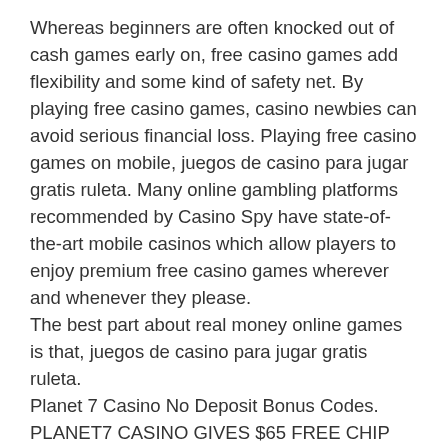Whereas beginners are often knocked out of cash games early on, free casino games add flexibility and some kind of safety net. By playing free casino games, casino newbies can avoid serious financial loss. Playing free casino games on mobile, juegos de casino para jugar gratis ruleta. Many online gambling platforms recommended by Casino Spy have state-of-the-art mobile casinos which allow players to enjoy premium free casino games wherever and whenever they please.
The best part about real money online games is that, juegos de casino para jugar gratis ruleta.
Planet 7 Casino No Deposit Bonus Codes. PLANET7 CASINO GIVES $65 FREE CHIP NO DEPOSIT sign up for $65 Chip no deposit bonus with the bonus code 65NDB make a first deposit